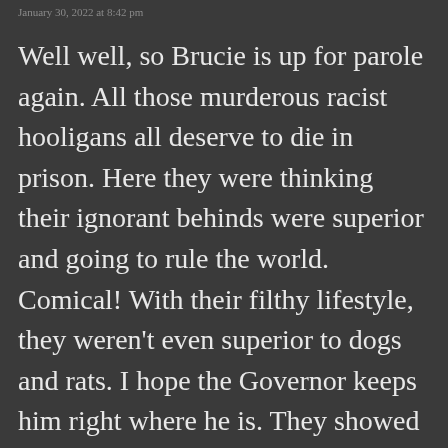January 30, 2022 at 8:42 pm
Well well, so Brucie is up for parole again. All those murderous racist hooligans all deserve to die in prison. Here they were thinking their ignorant behinds were superior and going to rule the world. Comical! With their filthy lifestyle, they weren't even superior to dogs and rats. I hope the Governor keeps him right where he is. They showed no mercy so they don't deserve any now.